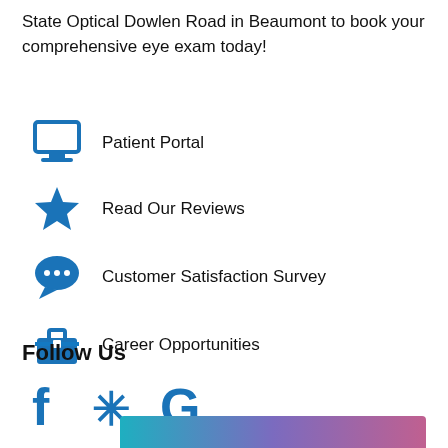State Optical Dowlen Road in Beaumont to book your comprehensive eye exam today!
Patient Portal
Read Our Reviews
Customer Satisfaction Survey
Career Opportunities
Follow Us
[Figure (infographic): Social media icons: Facebook (f), Yelp (asterisk/flower), Google (G) in blue colors]
[Figure (illustration): Gradient color bar at bottom of page transitioning from teal/cyan to purple to pink/magenta]